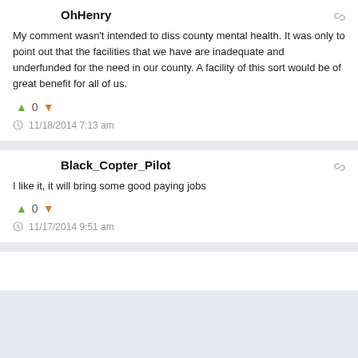OhHenry
My comment wasn't intended to diss county mental health. It was only to point out that the facilities that we have are inadequate and underfunded for the need in our county. A facility of this sort would be of great benefit for all of us.
0
11/18/2014 7:13 am
Black_Copter_Pilot
I like it, it will bring some good paying jobs
0
11/17/2014 9:51 am